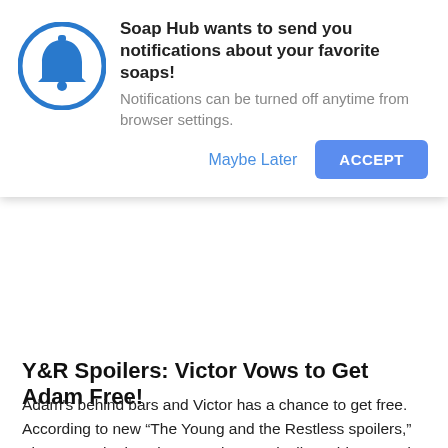[Figure (infographic): Browser notification permission popup with a blue bell icon inside a blue circle, title text, subtitle, Maybe Later link and ACCEPT button]
Y&R Spoilers: Victor Vows to Get Adam Free!
Adam's behind bars and Victor has a chance to get free. According to new “The Young and the Restless spoilers,” The Mustache is going to make sure he'll use his second chance t…
THE YOUNG AND THE RESTLESS
The Young and the Restless Spoilers: Doing It for Themselves
Breaking “The Young and the Restless spoilers” for Thursday, July 21 promise confrontations galore as Genoa City residents stick up for themselves and make bold moves. Sit back and watch t…